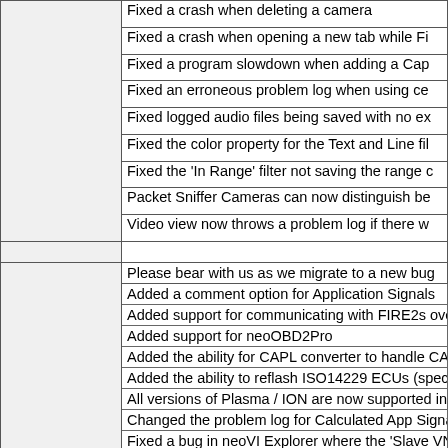|  | Fixed a crash when deleting a camera |
|  | Fixed a crash when opening a new tab while Fi... |
|  | Fixed a program slowdown when adding a Cap... |
|  | Fixed an erroneous problem log when using ce... |
|  | Fixed logged audio files being saved with no ex... |
|  | Fixed the color property for the Text and Line fil... |
|  | Fixed the 'In Range' filter not saving the range c... |
|  | Packet Sniffer Cameras can now distinguish be... |
|  | Video view now throws a problem log if there w... |
|  |  |
|  | Please bear with us as we migrate to a new bug... |
|  | Added a comment option for Application Signals |
|  | Added support for communicating with FIRE2s ove... |
|  | Added support for neoOBD2Pro |
|  | Added the ability for CAPL converter to handle CAN... |
|  | Added the ability to reflash ISO14229 ECUs (specif... |
|  | All versions of Plasma / ION are now supported in t... |
|  | Changed the problem log for Calculated App Signal... |
|  | Fixed a bug in neoVI Explorer where the 'Slave VNE... |
|  | Fixed a bug when starting the ISO14229 Flasher via... |